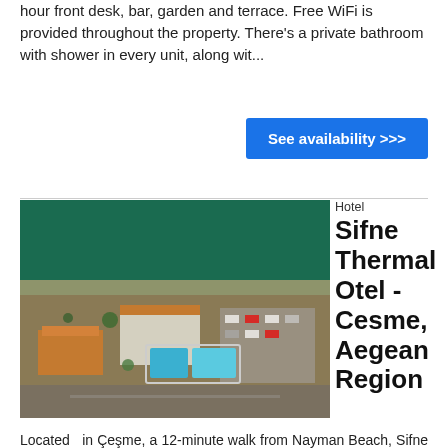hour front desk, bar, garden and terrace. Free WiFi is provided throughout the property. There's a private bathroom with shower in every unit, along wit...
See availability >>>
[Figure (photo): Aerial view of Sifne Thermal Otel showing the hotel complex with orange-roofed buildings, swimming pools, parking area, and the Aegean Sea coast with green water]
Hotel
Sifne Thermal Otel - Cesme, Aegean Region
Located in Çeşme, a 12-minute walk from Nayman Beach, Sifne Thermal Otel provides accommodations with a